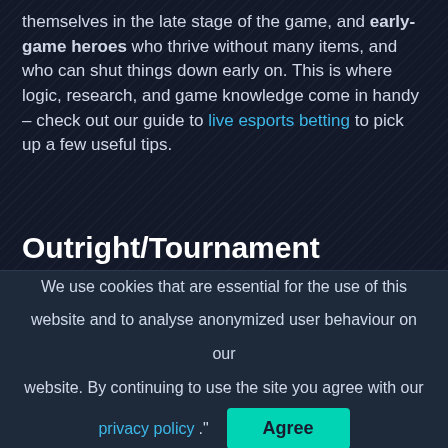themselves in the late stage of the game, and early-game heroes who thrive without many items, and who can shut things down early on. This is where logic, research, and game knowledge come in handy – check out our guide to live esports betting to pick up a few useful tips.
Outright/Tournament Betting
If someone told you a couple of years ago that you would, some day, have a chance to bet on the tournament outcome in esports, you would probably not have believed them. Lately, however, more and more operators are adding this selection to their plethora of esports betting markets.
We use cookies that are essential for the use of this website and to analyse anonymized user behaviour on our website. By continuing to use the site you agree with our privacy policy. Agree